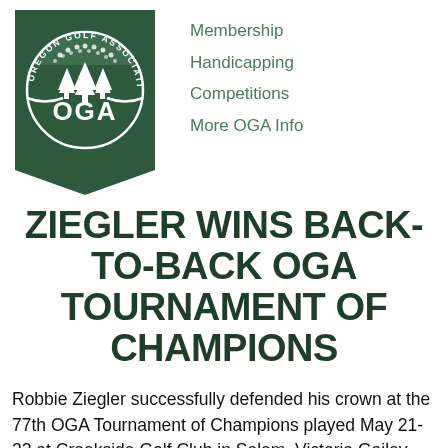[Figure (logo): Oregon Golf Association (OGA) logo — dark green pennant/bookmark shape with circular badge showing trees, golf ball pattern, circular text 'OREGON GOLF ASSOCIATION', and 'OGA' text in white]
Membership
Handicapping
Competitions
More OGA Info
ZIEGLER WINS BACK-TO-BACK OGA TOURNAMENT OF CHAMPIONS
Robbie Ziegler successfully defended his crown at the 77th OGA Tournament of Champions played May 21-22 at Creekside Golf Club in Salem. Victoria Gailey, Tom Greller and Katy Wright also claimed division titles at the 36-hole stroke play competition.